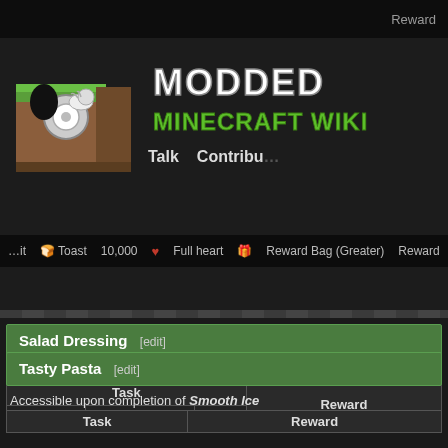Modded Minecraft Wiki — Talk  Contribute  Reward
Accessible upon completion of Smooth Ice
Salad Dressing [edit]
Accessible upon completion of Smooth Ice
| Type | Item | Qty | Reward |
| --- | --- | --- | --- |
| Detect | Vinegar | 1 | Quarter of a heart |
Tasty Pasta [edit]
Accessible upon completion of Smooth Ice